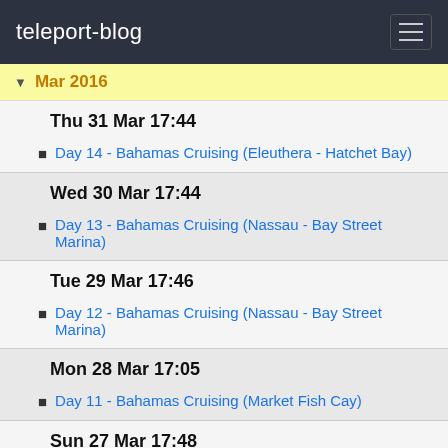teleport-blog
Mar 2016
Thu 31 Mar 17:44
Day 14 - Bahamas Cruising (Eleuthera - Hatchet Bay)
Wed 30 Mar 17:44
Day 13 - Bahamas Cruising (Nassau - Bay Street Marina)
Tue 29 Mar 17:46
Day 12 - Bahamas Cruising (Nassau - Bay Street Marina)
Mon 28 Mar 17:05
Day 11 - Bahamas Cruising (Market Fish Cay)
Sun 27 Mar 17:48
Day 10 - Bahamas Cruising (Great Harbour Cay)
Sat 26 Mar 18:39
Day 9 - Bahamas Cruising (Great Harbour Cay)
Fri 25 Mar 18:50
Day 8 - Bahamas Cruising (Great Harbour Cay)